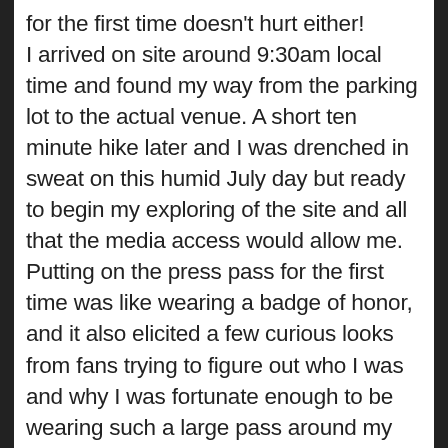for the first time doesn't hurt either! I arrived on site around 9:30am local time and found my way from the parking lot to the actual venue. A short ten minute hike later and I was drenched in sweat on this humid July day but ready to begin my exploring of the site and all that the media access would allow me. Putting on the press pass for the first time was like wearing a badge of honor, and it also elicited a few curious looks from fans trying to figure out who I was and why I was fortunate enough to be wearing such a large pass around my neck. Seriously, this thing is huge! I caught parts of a few different qualifying matches today, mostly the ones with the more familiar names. There were not a lot of well known players in the qualifying draw and I was